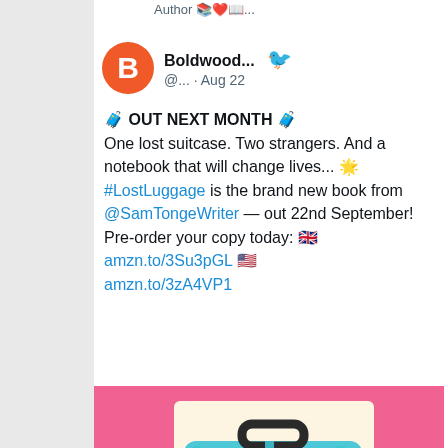Author 📚❤️📖...
Boldwood... @... · Aug 22
🧳 OUT NEXT MONTH 🧳 One lost suitcase. Two strangers. And a notebook that will change lives... 🌟 #LostLuggage is the brand new book from @SamTongeWriter — out 22nd September! Pre-order your copy today: 🇬🇧 amzn.to/3Su3pGL 🇺🇸 amzn.to/3zA4VP1
[Figure (photo): Book cover of Lost Luggage on pink background, showing a blue suitcase with the title 'Lost Luggage' in pink letters]